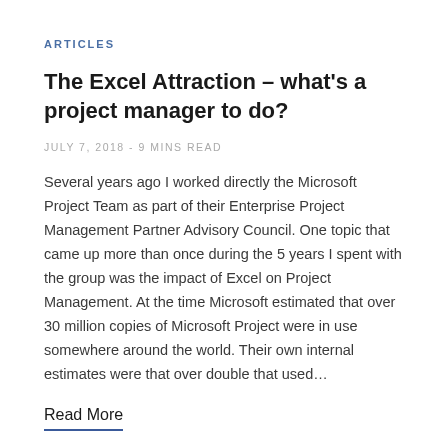ARTICLES
The Excel Attraction – what's a project manager to do?
JULY 7, 2018 - 9 MINS READ
Several years ago I worked directly the Microsoft Project Team as part of their Enterprise Project Management Partner Advisory Council.  One topic that came up more than once during the 5 years I spent with the group was the impact of Excel on Project Management.  At the time Microsoft estimated that over 30 million copies of Microsoft Project were in use somewhere around the world.  Their own internal estimates were that over double that used…
Read More